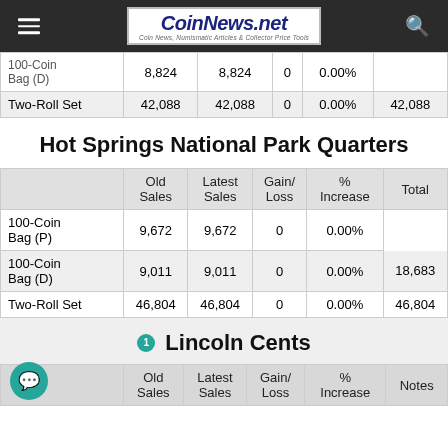CoinNews.net - Coin News, Numismatic Articles & Collector Price Tools
|  | Old Sales | Latest Sales | Gain/Loss | % Increase | Total |
| --- | --- | --- | --- | --- | --- |
| 100-Coin Bag (D) | 8,824 | 8,824 | 0 | 0.00% |  |
| Two-Roll Set | 42,088 | 42,088 | 0 | 0.00% | 42,088 |
Hot Springs National Park Quarters
|  | Old Sales | Latest Sales | Gain/Loss | % Increase | Total |
| --- | --- | --- | --- | --- | --- |
| 100-Coin Bag (P) | 9,672 | 9,672 | 0 | 0.00% |  |
| 100-Coin Bag (D) | 9,011 | 9,011 | 0 | 0.00% | 18,683 |
| Two-Roll Set | 46,804 | 46,804 | 0 | 0.00% | 46,804 |
Lincoln Cents
|  | Old Sales | Latest Sales | Gain/Loss | % Increase | Notes |
| --- | --- | --- | --- | --- | --- |